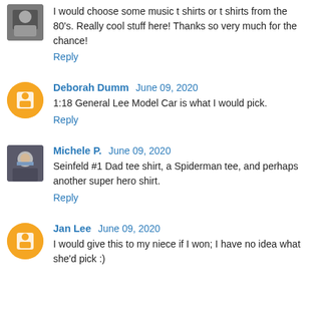I would choose some music t shirts or t shirts from the 80's. Really cool stuff here! Thanks so very much for the chance!
Reply
Deborah Dumm  June 09, 2020
1:18 General Lee Model Car is what I would pick.
Reply
Michele P.  June 09, 2020
Seinfeld #1 Dad tee shirt, a Spiderman tee, and perhaps another super hero shirt.
Reply
Jan Lee  June 09, 2020
I would give this to my niece if I won; I have no idea what she'd pick :)